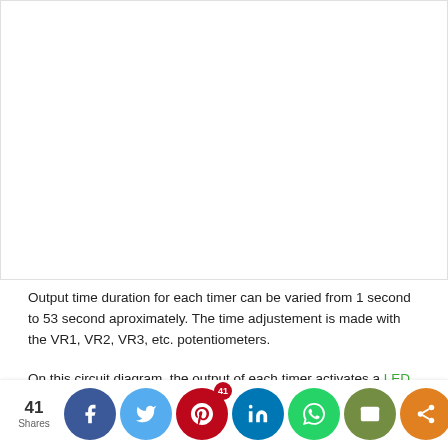[Figure (other): White blank area representing an image or diagram placeholder at the top of the page]
Output time duration for each timer can be varied from 1 second to 53 second aproximately. The time adjustement is made with the VR1, VR2, VR3, etc. potentiometers.
On this circuit diagram, the output of each timer activates a LED, but these outputs can be used to activate a device such
[Figure (other): Social share bar at the bottom with share count of 41 and buttons for Facebook, Twitter, Pinterest (41), LinkedIn, WhatsApp, Email, and generic share]